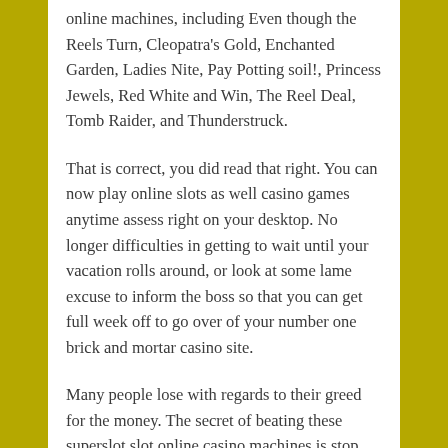online machines, including Even though the Reels Turn, Cleopatra's Gold, Enchanted Garden, Ladies Nite, Pay Potting soil!, Princess Jewels, Red White and Win, The Reel Deal, Tomb Raider, and Thunderstruck.
That is correct, you did read that right. You can now play online slots as well casino games anytime assess right on your desktop. No longer difficulties in getting to wait until your vacation rolls around, or look at some lame excuse to inform the boss so that you can get full week off to go over of your number one brick and mortar casino site.
Many people lose with regards to their greed for the money. The secret of beating these superslot slot online casino machines is stop playing, if you're